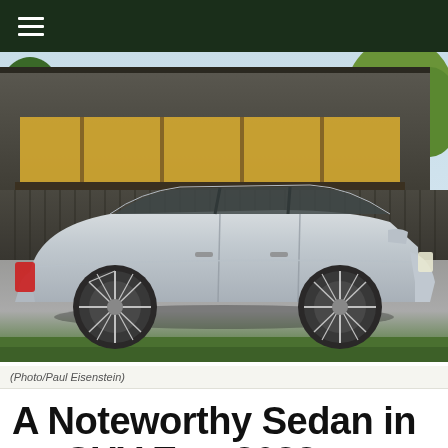Navigation bar with hamburger menu
[Figure (photo): Side profile of a silver 2022 Mercedes-Benz C-Class sedan parked on gravel in front of a dark modern barn-style building with yellow-lit windows and trees in background]
(Photo/Paul Eisenstein)
A Noteworthy Sedan in an SUV Era: 2022